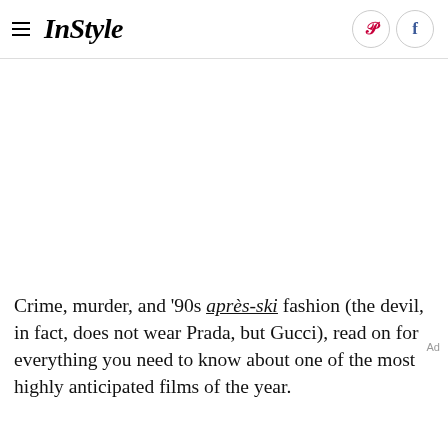InStyle
[Figure (other): Blank white image area placeholder]
Crime, murder, and '90s après-ski fashion (the devil, in fact, does not wear Prada, but Gucci), read on for everything you need to know about one of the most highly anticipated films of the year.